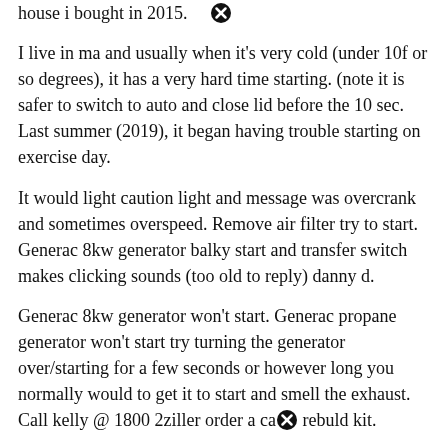house i bought in 2015.
I live in ma and usually when it's very cold (under 10f or so degrees), it has a very hard time starting. (note it is safer to switch to auto and close lid before the 10 sec. Last summer (2019), it began having trouble starting on exercise day.
It would light caution light and message was overcrank and sometimes overspeed. Remove air filter try to start. Generac 8kw generator balky start and transfer switch makes clicking sounds (too old to reply) danny d.
Generac 8kw generator won't start. Generac propane generator won't start try turning the generator over/starting for a few seconds or however long you normally would to get it to start and smell the exhaust. Call kelly @ 1800 2ziller order a carb rebuild kit.